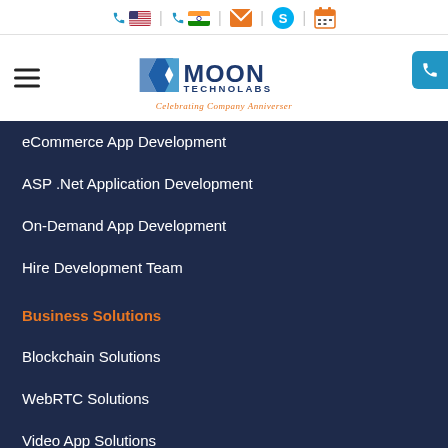Moon Technolabs website header with contact icons (US phone, India phone, email, Skype, calendar), hamburger menu, and Moon Technolabs logo with tagline 'Celebrating Company Anniverser'
eCommerce App Development
ASP .Net Application Development
On-Demand App Development
Hire Development Team
Business Solutions
Blockchain Solutions
WebRTC Solutions
Video App Solutions
Asterisk Solutions
IoT Solutions